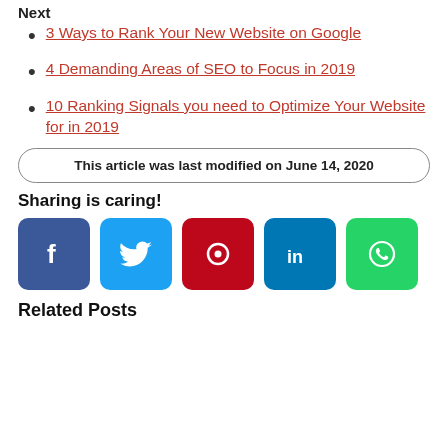Next
3 Ways to Rank Your New Website on Google
4 Demanding Areas of SEO to Focus in 2019
10 Ranking Signals you need to Optimize Your Website for in 2019
This article was last modified on June 14, 2020
Sharing is caring!
[Figure (infographic): Social sharing buttons: Facebook, Twitter, Pinterest, LinkedIn, WhatsApp]
Related Posts